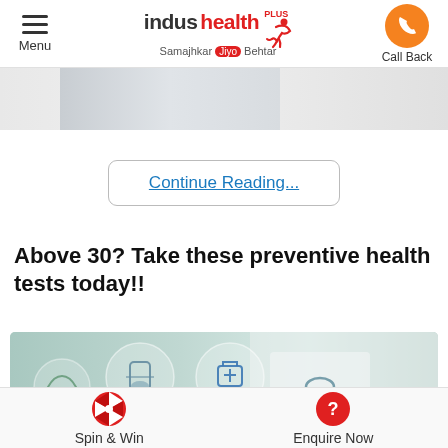Menu | indus health PLUS | Samajhkar Jiyo Behtar | Call Back
[Figure (photo): Partial medical/doctor image strip cropped at top]
Continue Reading...
Above 30? Take these preventive health tests today!!
[Figure (photo): Doctor in white coat with medical icons overlaid (flask, medical kit, stethoscope)]
Spin & Win | Enquire Now